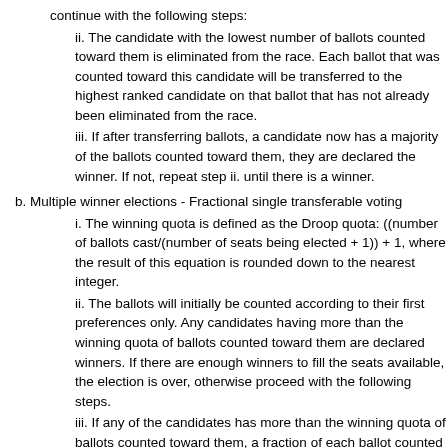continue with the following steps:
ii. The candidate with the lowest number of ballots counted toward them is eliminated from the race. Each ballot that was counted toward this candidate will be transferred to the highest ranked candidate on that ballot that has not already been eliminated from the race.
iii. If after transferring ballots, a candidate now has a majority of the ballots counted toward them, they are declared the winner. If not, repeat step ii. until there is a winner.
b. Multiple winner elections - Fractional single transferable voting
i. The winning quota is defined as the Droop quota: ((number of ballots cast/(number of seats being elected + 1)) + 1, where the result of this equation is rounded down to the nearest integer.
ii. The ballots will initially be counted according to their first preferences only. Any candidates having more than the winning quota of ballots counted toward them are declared winners. If there are enough winners to fill the seats available, the election is over, otherwise proceed with the following steps.
iii. If any of the candidates has more than the winning quota of ballots counted toward them, a fraction of each ballot counted toward that candidate is transferred to that ballot’s next choice. The fraction of each ballot that is transferred is equal to the number of surplus number of ballots the candidate has divided